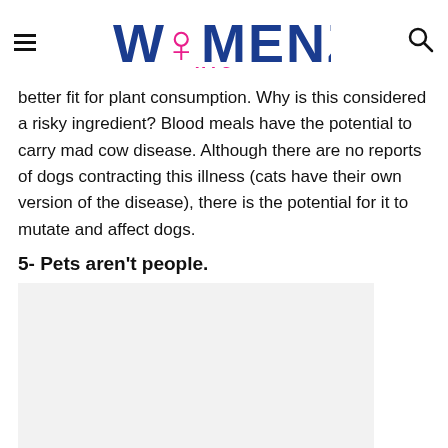WOMENZ MAG
better fit for plant consumption. Why is this considered a risky ingredient? Blood meals have the potential to carry mad cow disease. Although there are no reports of dogs contracting this illness (cats have their own version of the disease), there is the potential for it to mutate and affect dogs.
5- Pets aren't people.
[Figure (photo): Placeholder image area, light gray background]